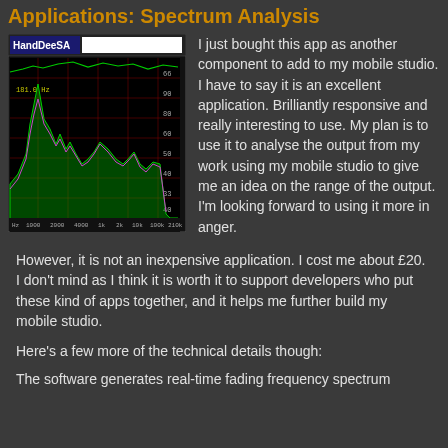Applications: Spectrum Analysis
[Figure (screenshot): HandDeeSA spectrum analyzer app screenshot showing frequency spectrum display with green and purple waveforms on a dark background with red grid lines, frequency axis labels along bottom and amplitude labels on right side]
I just bought this app as another component to add to my mobile studio. I have to say it is an excellent application. Brilliantly responsive and really interesting to use. My plan is to use it to analyse the output from my work using my mobile studio to give me an idea on the range of the output. I'm looking forward to using it more in anger.
However, it is not an inexpensive application. I cost me about £20. I don't mind as I think it is worth it to support developers who put these kind of apps together, and it helps me further build my mobile studio.
Here's a few more of the technical details though:
The software generates real-time fading frequency spectrum